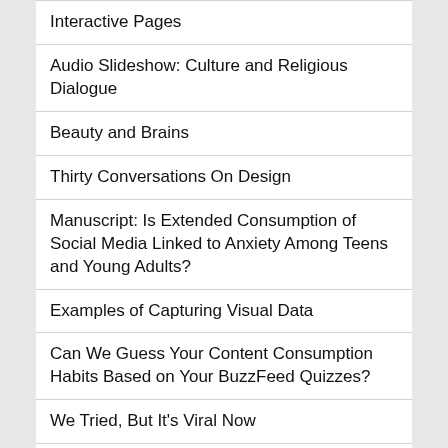Interactive Pages
Audio Slideshow: Culture and Religious Dialogue
Beauty and Brains
Thirty Conversations On Design
Manuscript: Is Extended Consumption of Social Media Linked to Anxiety Among Teens and Young Adults?
Examples of Capturing Visual Data
Can We Guess Your Content Consumption Habits Based on Your BuzzFeed Quizzes?
We Tried, But It's Viral Now
“I Put Words in People’s Mouths”: The Remix Culture and Copyright Claims
“Inspired”…Sure